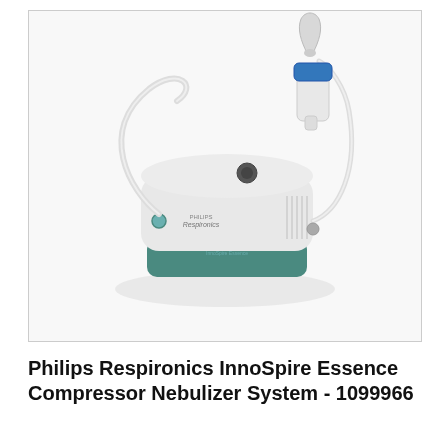[Figure (photo): Philips Respironics InnoSpire Essence Compressor Nebulizer System product photo showing a white and teal/green compact nebulizer device with clear tubing looping from the left side and a blue mouthpiece/nebulizer cup assembly attached on the right side, displayed on a white background within a light gray bordered box.]
Philips Respironics InnoSpire Essence Compressor Nebulizer System - 1099966